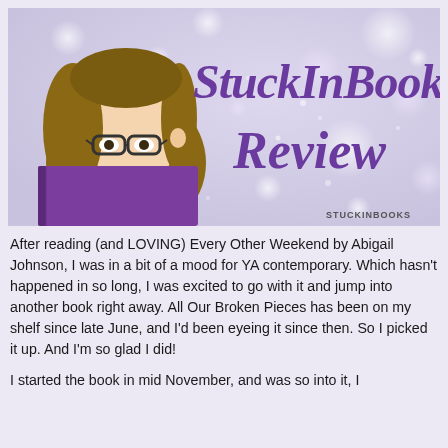[Figure (illustration): StuckInBooks Review banner image with illustrated girl reading a purple book, long brown hair, glasses, against a sparkly silver/purple bokeh background. Purple italic text reads 'StuckInBooks Review'. Small 'STUCKINBOOKS' watermark at bottom right.]
After reading (and LOVING) Every Other Weekend by Abigail Johnson, I was in a bit of a mood for YA contemporary. Which hasn't happened in so long, I was excited to go with it and jump into another book right away. All Our Broken Pieces has been on my shelf since late June, and I'd been eyeing it since then. So I picked it up. And I'm so glad I did!
I started the book in mid November, and was so into it, I